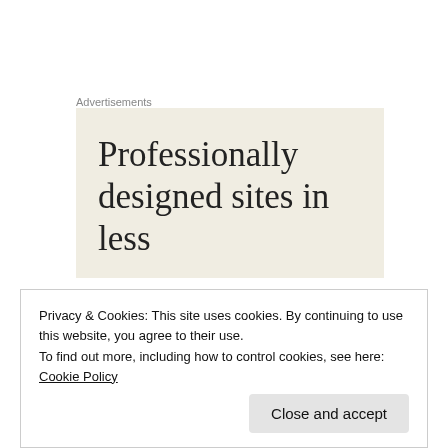Advertisements
[Figure (other): Advertisement banner with cream/beige background showing partial text 'Professionally designed sites in less']
I am my father's daughter: I can point out the features that I inherited from him – toes, kneecaps, and ankles. I have his dry sense of humor, his love of dad jokes, and his special way of making slang sound awkward. He has
Privacy & Cookies: This site uses cookies. By continuing to use this website, you agree to their use.
To find out more, including how to control cookies, see here: Cookie Policy
Close and accept